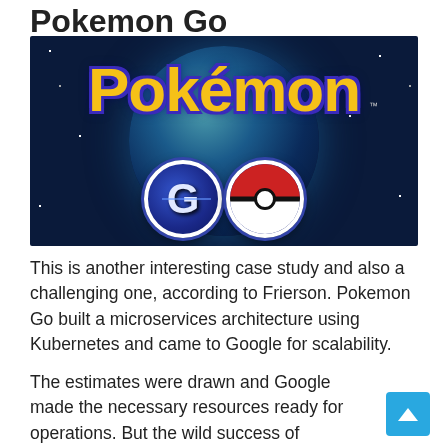Pokemon Go
[Figure (photo): Pokemon Go logo on a dark space background with globe, showing yellow 'Pokémon' text and 'GO' in two blue circles with pokeball design]
This is another interesting case study and also a challenging one, according to Frierson. Pokemon Go built a microservices architecture using Kubernetes and came to Google for scalability.
The estimates were drawn and Google made the necessary resources ready for operations. But the wild success of Pokemon Go was something that neither